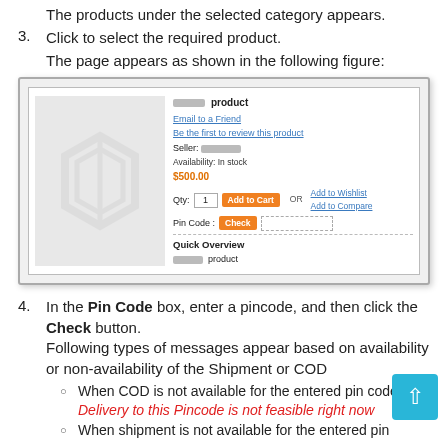The products under the selected category appears.
3. Click to select the required product.
The page appears as shown in the following figure:
[Figure (screenshot): Screenshot of a product page showing product image placeholder (Magento logo watermark), product title, Email to a Friend link, Be the first to review this product link, Seller field, Availability: In stock, $500.00 price, Qty field with Add to Cart button, OR with Add to Wishlist and Add to Compare links, Pin Code field with Check button, Quick Overview section.]
4. In the Pin Code box, enter a pincode, and then click the Check button. Following types of messages appear based on availability or non-availability of the Shipment or COD
When COD is not available for the entered pin code. Delivery to this Pincode is not feasible right now
When shipment is not available for the entered pin